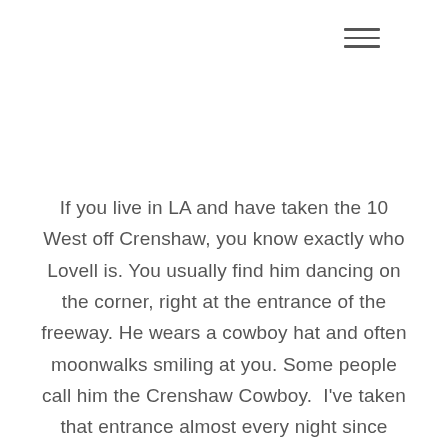[Figure (other): Hamburger menu icon (three horizontal lines) in the upper right area]
If you live in LA and have taken the 10 West off Crenshaw, you know exactly who Lovell is. You usually find him dancing on the corner, right at the entrance of the freeway. He wears a cowboy hat and often moonwalks smiling at you. Some people call him the Crenshaw Cowboy. I've taken that entrance almost every night since 2011, coming home from working